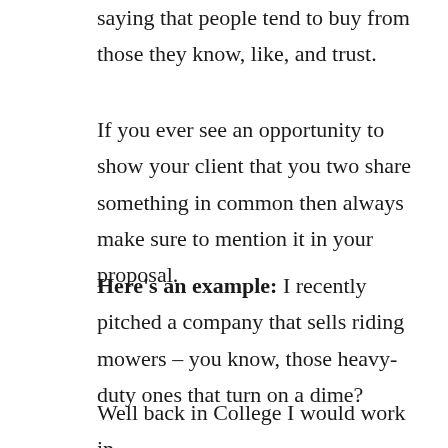saying that people tend to buy from those they know, like, and trust.
If you ever see an opportunity to show your client that you two share something in common then always make sure to mention it in your proposal.
Here's an example: I recently pitched a company that sells riding mowers – you know, those heavy-duty ones that turn on a dime?
Well back in College I would work in